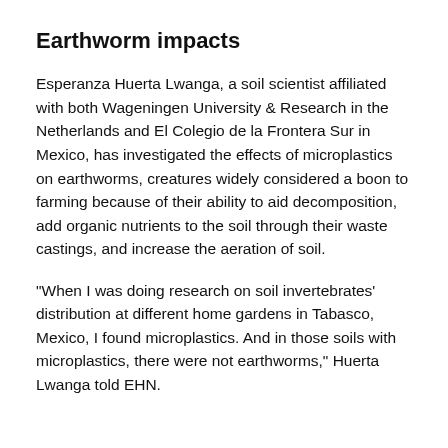Earthworm impacts
Esperanza Huerta Lwanga, a soil scientist affiliated with both Wageningen University & Research in the Netherlands and El Colegio de la Frontera Sur in Mexico, has investigated the effects of microplastics on earthworms, creatures widely considered a boon to farming because of their ability to aid decomposition, add organic nutrients to the soil through their waste castings, and increase the aeration of soil.
"When I was doing research on soil invertebrates' distribution at different home gardens in Tabasco, Mexico, I found microplastics. And in those soils with microplastics, there were not earthworms," Huerta Lwanga told EHN.